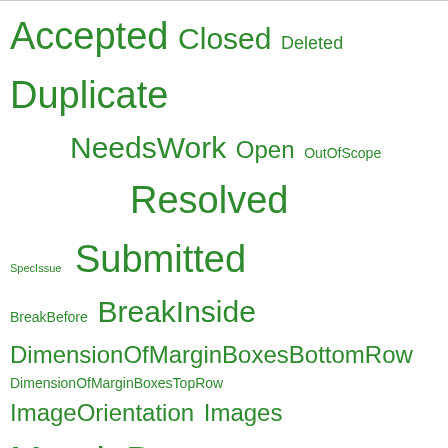[Figure (other): Tag cloud with green text showing various status and group tags of different font sizes: Accepted, Closed, Deleted, Duplicate, NeedsWork, Open, OutOfScope, Resolved, SpecIssue, Submitted, BreakBefore, BreakInside, DimensionOfMarginBoxesBottomRow, DimensionOfMarginBoxesTopRow, ImageOrientation, Images, MarginBoxes, Orphans, PageBreaks, PageProperties, PageSize, Widows]
Filtered by group=PageBreaks & status=SpecIssue
Show all (remove filter/sort)
| Submission | Status | ↑ Authors | Groups | URL |
| --- | --- | --- | --- | --- |
| Nothing found |
test/css2.1/submit.txt · Last modified: 2014/12/09 15:48 (external edit)
Show pagesource   Old revisions   Log In